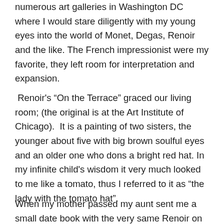numerous art galleries in Washington DC where I would stare diligently with my young eyes into the world of Monet, Degas, Renoir and the like. The French impressionist were my favorite, they left room for interpretation and expansion.
Renoir's “On the Terrace” graced our living room; (the original is at the Art Institute of Chicago). It is a painting of two sisters, the younger about five with big brown soulful eyes and an older one who dons a bright red hat. In my infinite child's wisdom it very much looked to me like a tomato, thus I referred to it as “the lady with the tomato hat”.
When my mother passed my aunt sent me a small date book with the very same Renoir on its cover commenting on how it had reminded her of me and my mom. I was